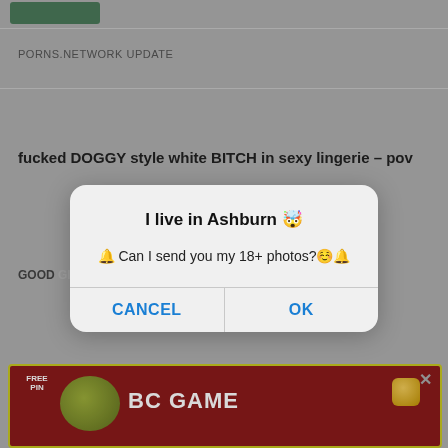[Figure (screenshot): Top portion of a website showing a small green thumbnail image and a horizontal divider line]
PORNS.NETWORK UPDATE
fucked DOGGY style white BITCH in sexy lingerie – pov
[Figure (screenshot): A browser dialog/modal box with title 'I live in Ashburn 🤯', body text '🔔 Can I send you my 18+ photos?☺️🔔', and two buttons: CANCEL and OK]
GOOD GIRL POKEMON DRAGON | Lara...
Latina Catwoman
[Figure (screenshot): Bottom advertisement banner with yellow border showing BC GAME logo with coins and gem icons, FREE PIN text on left, close X button top right]